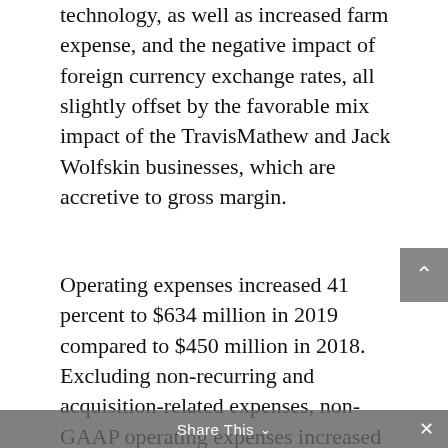technology, as well as increased farm expense, and the negative impact of foreign currency exchange rates, all slightly offset by the favorable mix impact of the TravisMathew and Jack Wolfskin businesses, which are accretive to gross margin.
Operating expenses increased 41 percent to $634 million in 2019 compared to $450 million in 2018. Excluding non-recurring and acquisition-related expenses, non-GAAP operating expenses increased $172 million, or 39 percent, to $617 million compared to $445 million in 2018. This increase is primarily due to the addition in 2019 of operating expenses from the Jack